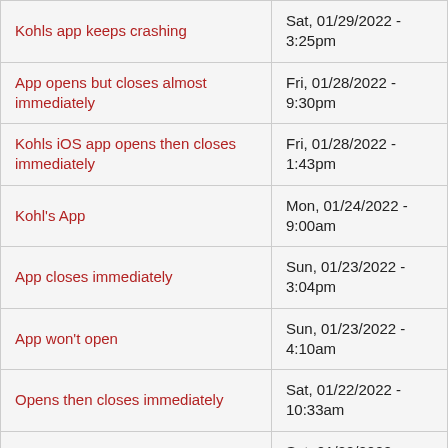| Title | Date |
| --- | --- |
| Kohls app keeps crashing | Sat, 01/29/2022 - 3:25pm |
| App opens but closes almost immediately | Fri, 01/28/2022 - 9:30pm |
| Kohls iOS app opens then closes immediately | Fri, 01/28/2022 - 1:43pm |
| Kohl's App | Mon, 01/24/2022 - 9:00am |
| App closes immediately | Sun, 01/23/2022 - 3:04pm |
| App won't open | Sun, 01/23/2022 - 4:10am |
| Opens then closes immediately | Sat, 01/22/2022 - 10:33am |
| Won't ooen | Sat, 01/22/2022 - 10:32am |
| Opens then closes | Sat, 01/22/2022 - 5:00am |